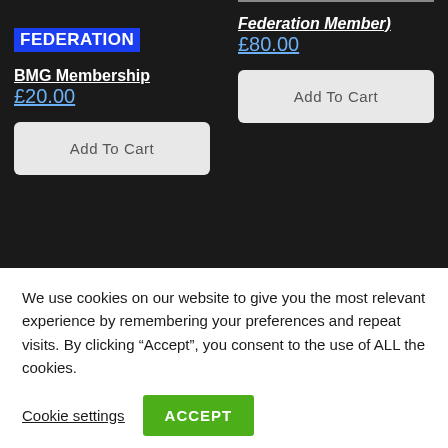[Figure (logo): BMG Federation logo — blue box with white bold text reading FEDERATION]
BMG Membership
£20.00
Add To Cart
Federation Member)
£80.00
Add To Cart
We use cookies on our website to give you the most relevant experience by remembering your preferences and repeat visits. By clicking “Accept”, you consent to the use of ALL the cookies.
Cookie settings
ACCEPT